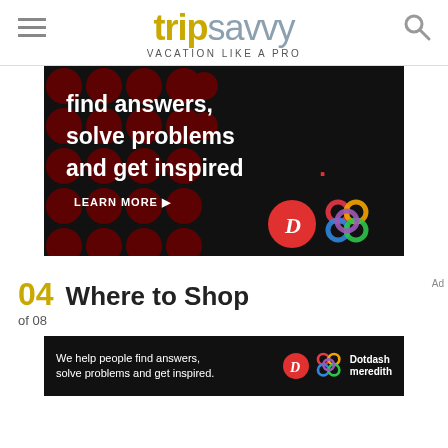tripsavvy VACATION LIKE A PRO
[Figure (infographic): Advertisement banner with dark background and dark red polka dots pattern. Large white bold text reads 'find answers, solve problems and get inspired.' with a red period. Below on the left: 'LEARN MORE' with arrow. Bottom right: red circle with white D logo and colorful interlocking circles logo (Dotdash Meredith).]
04 Where to Shop
of 08
[Figure (infographic): Small advertisement banner at bottom. Dark background. Text: 'We help people find answers, solve problems and get inspired.' with Dotdash Meredith logos on right.]